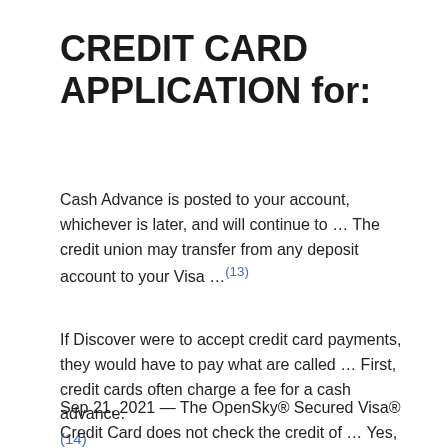CREDIT CARD APPLICATION for:
Cash Advance is posted to your account, whichever is later, and will continue to … The credit union may transfer from any deposit account to your Visa …(13)
If Discover were to accept credit card payments, they would have to pay what are called … First, credit cards often charge a fee for a cash advance.(14)
Sep 21, 2021 — The OpenSky® Secured Visa® Credit Card does not check the credit of … Yes,